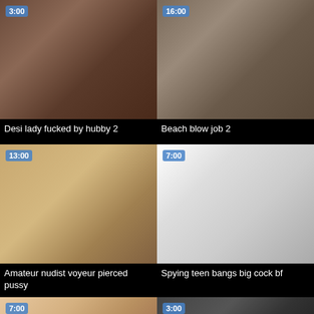[Figure (photo): Video thumbnail - darkened indoor scene, duration 3:00]
Desi lady fucked by hubby 2
[Figure (photo): Video thumbnail - beach outdoor scene, duration 16:00]
Beach blow job 2
[Figure (photo): Video thumbnail - beach sand scene, duration 13:00]
Amateur nudist voyeur pierced pussy
[Figure (photo): Video thumbnail - indoor scene, duration 7:00]
Spying teen bangs big cock bf
[Figure (photo): Video thumbnail - indoor scene, duration 7:00]
[Figure (photo): Video thumbnail - dark scene, duration 3:00]